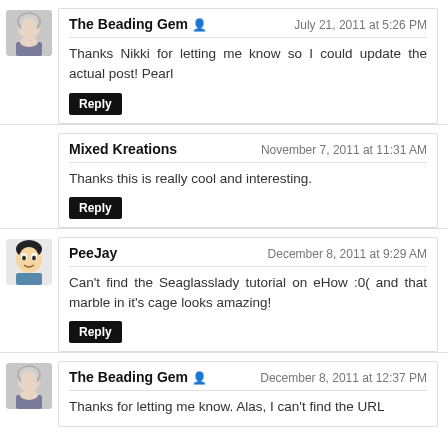The Beading Gem — July 21, 2011 at 5:26 PM
Thanks Nikki for letting me know so I could update the actual post! Pearl
[Reply]
Mixed Kreations — November 7, 2011 at 11:31 AM
Thanks this is really cool and interesting.
[Reply]
PeeJay — December 8, 2011 at 9:29 AM
Can't find the Seaglasslady tutorial on eHow :0( and that marble in it's cage looks amazing!
[Reply]
The Beading Gem — December 8, 2011 at 12:37 PM
Thanks for letting me know. Alas, I can't find the URL...